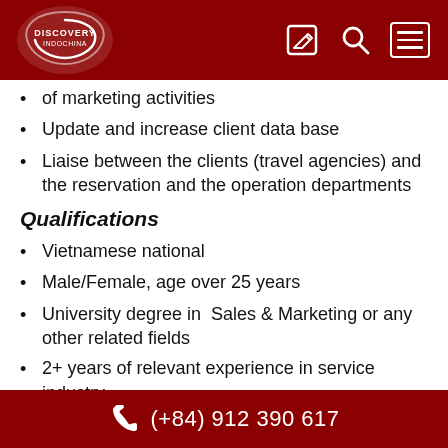Discovery Indochina — navigation header
of marketing activities
Update and increase client data base
Liaise between the clients (travel agencies) and the reservation and the operation departments
Qualifications
Vietnamese national
Male/Female, age over 25 years
University degree in  Sales & Marketing or any other related fields
2+ years of relevant experience in service industry
Knowledge in tour operation or hospitality
(+84) 912 390 617